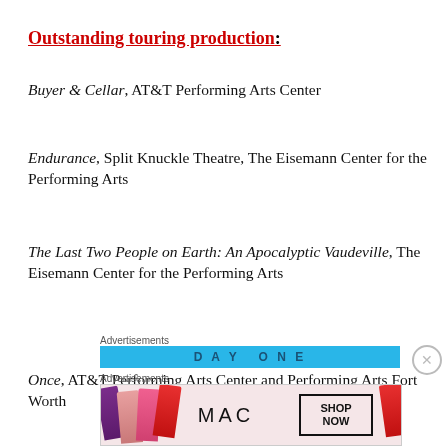Outstanding touring production:
Buyer & Cellar, AT&T Performing Arts Center
Endurance, Split Knuckle Theatre, The Eisemann Center for the Performing Arts
The Last Two People on Earth: An Apocalyptic Vaudeville, The Eisemann Center for the Performing Arts
Once, AT&T Performing Arts Center and Performing Arts Fort Worth
[Figure (other): Advertisement banner: DAY ONE in blue bar]
[Figure (other): Advertisement banner: MAC cosmetics with lipsticks, SHOP NOW button]